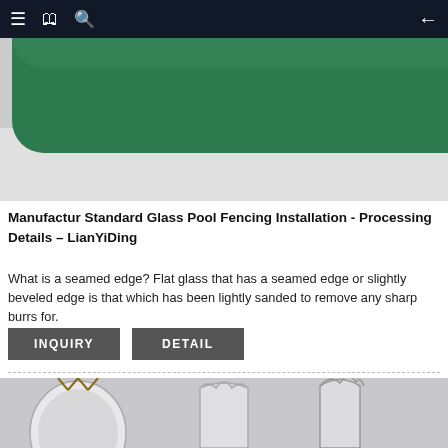Navigation bar with menu, bookmark, search icons and back arrow
[Figure (photo): Partial image showing a dark green rounded rectangular shape against a light grey background, appearing to be a glass or product element]
Manufactur Standard Glass Pool Fencing Installation - Processing Details – LianYiDing
What is a seamed edge? Flat glass that has a seamed edge or slightly beveled edge is that which has been lightly sanded to remove any sharp burrs for.
INQUIRY   DETAIL
[Figure (photo): Three decorative mirrors with shaped tops against a light grey background: left mirror is circular hanging by rope, middle mirror has an arch top with scalloped edge, right mirror has an ornate irregular shaped top]